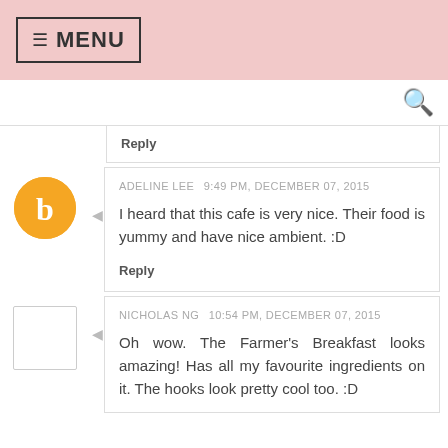≡ MENU
Reply
ADELINE LEE  9:49 PM, DECEMBER 07, 2015
I heard that this cafe is very nice. Their food is yummy and have nice ambient. :D
Reply
NICHOLAS NG  10:54 PM, DECEMBER 07, 2015
Oh wow. The Farmer's Breakfast looks amazing! Has all my favourite ingredients on it. The hooks look pretty cool too. :D